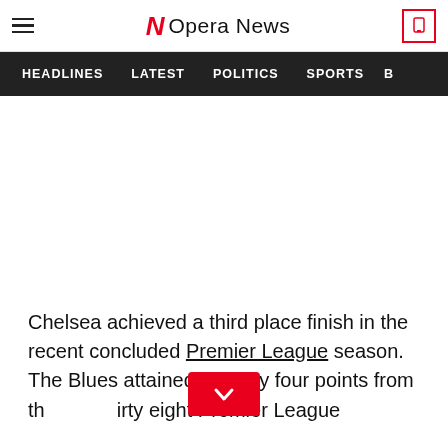Opera News
HEADLINES  LATEST  POLITICS  SPORTS  B
[Figure (other): Advertisement / blank white space area]
Chelsea achieved a third place finish in the recent concluded Premier League season. The Blues attained seventy four points from thirty eight Premier League